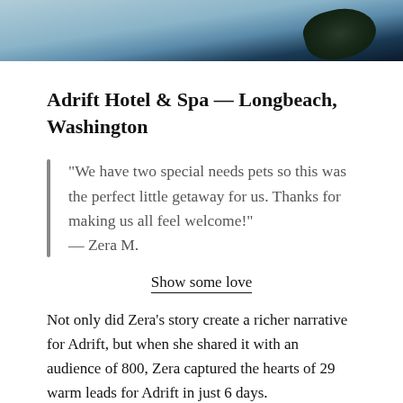[Figure (photo): Aerial or elevated photo of ocean/beach scene with dark landmass or rock in lower right corner and blue water/sky]
Adrift Hotel & Spa — Longbeach, Washington
“We have two special needs pets so this was the perfect little getaway for us. Thanks for making us all feel welcome!” — Zera M.
Show some love
Not only did Zera’s story create a richer narrative for Adrift, but when she shared it with an audience of 800, Zera captured the hearts of 29 warm leads for Adrift in just 6 days.